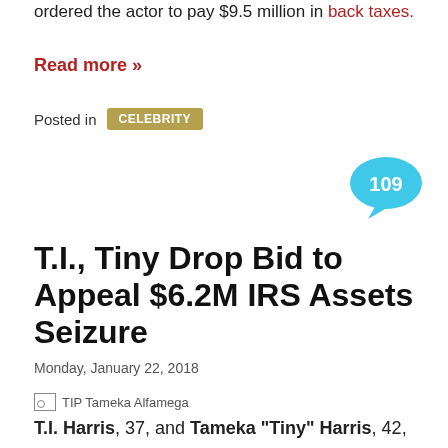ordered the actor to pay $9.5 million in back taxes.
Read more »
Posted in CELEBRITY
[Figure (infographic): Speech bubble with number 109 in cyan/light blue]
T.I., Tiny Drop Bid to Appeal $6.2M IRS Assets Seizure
Monday, January 22, 2018
[Figure (photo): TIP Tameka Alfamega image placeholder]
T.I. Harris, 37, and Tameka "Tiny" Harris, 42, are reportedly dropping their bid to block the U.S. Internal Revenue Service (IRS) from seizing their assets to repay their substantial tax debt.